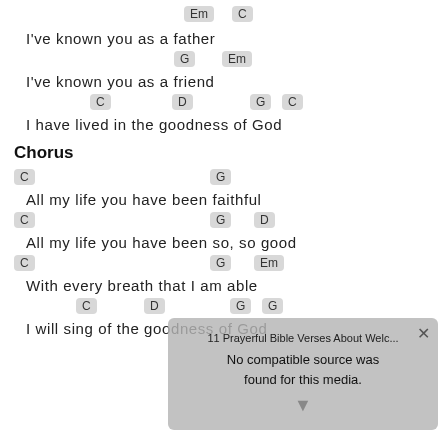I've known you as a father
I've known you as a friend
I have lived in the goodness of God
Chorus
All my life you have been faithful
All my life you have been so, so good
With every breath that I am able
I will sing of the goodness of God
[Figure (screenshot): Video overlay popup with text '11 Prayerful Bible Verses About Welc...' and message 'No compatible source was found for this media.' with close button and down arrow]